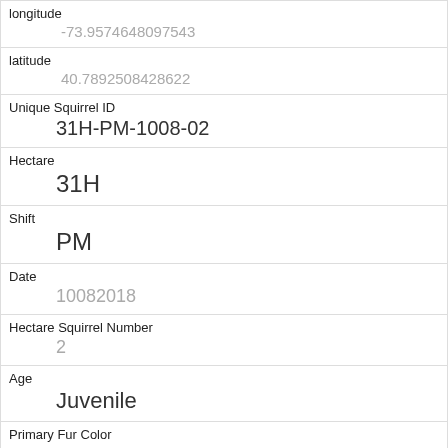| longitude | -73.9574648097543 |
| latitude | 40.7892508428622 |
| Unique Squirrel ID | 31H-PM-1008-02 |
| Hectare | 31H |
| Shift | PM |
| Date | 10082018 |
| Hectare Squirrel Number | 2 |
| Age | Juvenile |
| Primary Fur Color | Gray |
| Highlight Fur Color | Cinnamon |
| Combination of Primary and Highlight Color |  |